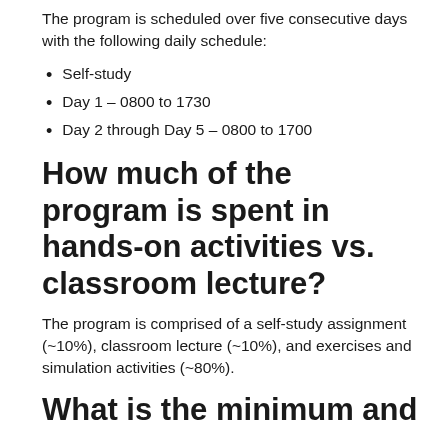The program is scheduled over five consecutive days with the following daily schedule:
Self-study
Day 1 – 0800 to 1730
Day 2 through Day 5 – 0800 to 1700
How much of the program is spent in hands-on activities vs. classroom lecture?
The program is comprised of a self-study assignment (~10%), classroom lecture (~10%), and exercises and simulation activities (~80%).
What is the minimum and